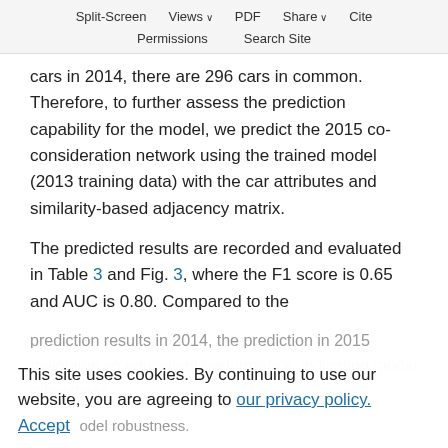Split-Screen  Views  PDF  Share  Cite  Permissions  Search Site
cars in 2014, there are 296 cars in common. Therefore, to further assess the prediction capability for the model, we predict the 2015 co-consideration network using the trained model (2013 training data) with the car attributes and similarity-based adjacency matrix.
The predicted results are recorded and evaluated in Table 3 and Fig. 3, where the F1 score is 0.65 and AUC is 0.80. Compared to the prediction results in 2014, the prediction in 2015 maintains an equivalent performance, indicating model robustness.
This site uses cookies. By continuing to use our website, you are agreeing to our privacy policy. Accept